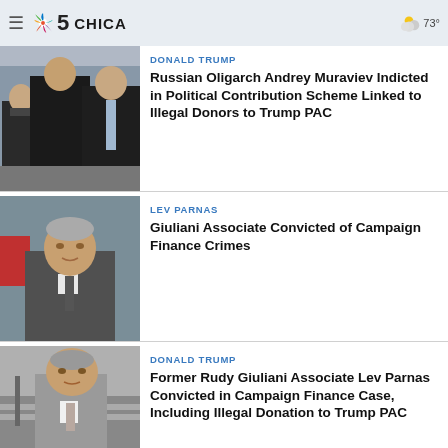NBC 5 Chicago
[Figure (photo): Two men in suits talking, one wearing a mask, outdoors near aircraft steps]
DONALD TRUMP
Russian Oligarch Andrey Muraviev Indicted in Political Contribution Scheme Linked to Illegal Donors to Trump PAC
[Figure (photo): Middle-aged man with grey hair in a suit and tie, walking outside]
LEV PARNAS
Giuliani Associate Convicted of Campaign Finance Crimes
[Figure (photo): Older heavyset man in grey suit and tie on building steps]
DONALD TRUMP
Former Rudy Giuliani Associate Lev Parnas Convicted in Campaign Finance Case, Including Illegal Donation to Trump PAC